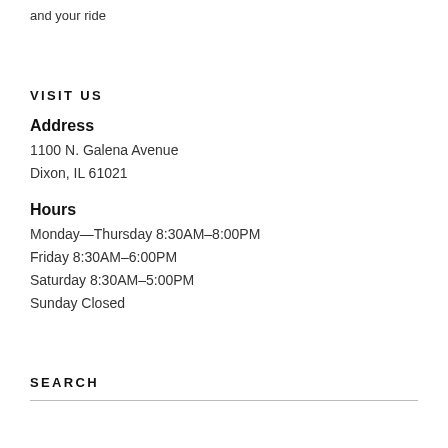and your ride
VISIT US
Address
1100 N. Galena Avenue
Dixon, IL 61021
Hours
Monday—Thursday 8:30AM–8:00PM
Friday 8:30AM–6:00PM
Saturday 8:30AM–5:00PM
Sunday Closed
SEARCH